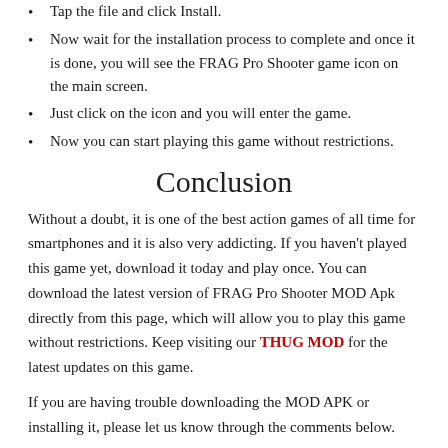Tap the file and click Install.
Now wait for the installation process to complete and once it is done, you will see the FRAG Pro Shooter game icon on the main screen.
Just click on the icon and you will enter the game.
Now you can start playing this game without restrictions.
Conclusion
Without a doubt, it is one of the best action games of all time for smartphones and it is also very addicting. If you haven't played this game yet, download it today and play once. You can download the latest version of FRAG Pro Shooter MOD Apk directly from this page, which will allow you to play this game without restrictions. Keep visiting our THUG MOD for the latest updates on this game.
If you are having trouble downloading the MOD APK or installing it, please let us know through the comments below.